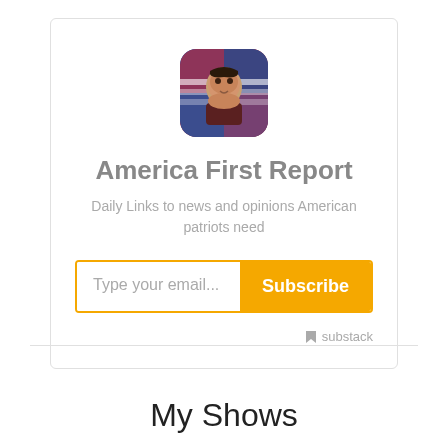[Figure (photo): Profile photo of a man with American flag background, displayed in a rounded square avatar]
America First Report
Daily Links to news and opinions American patriots need
Type your email... Subscribe
[Figure (logo): Substack logo with bookmark icon and text 'substack']
My Shows